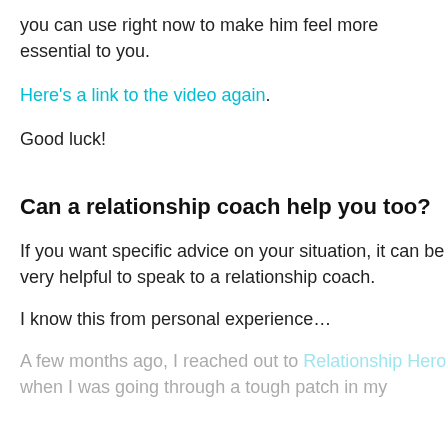you can use right now to make him feel more essential to you.
Here's a link to the video again.
Good luck!
Can a relationship coach help you too?
If you want specific advice on your situation, it can be very helpful to speak to a relationship coach.
I know this from personal experience…
A few months ago, I reached out to Relationship Hero when I was going through a tough patch in my